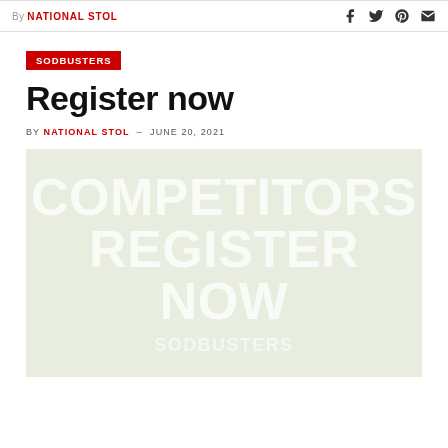By NATIONAL STOL
SODBUSTERS
Register now
BY NATIONAL STOL - JUNE 20, 2021
[Figure (illustration): Promotional image with text reading COMPETITORS REGISTER NOW and Sodbusters logo at bottom, on a light green/olive background]